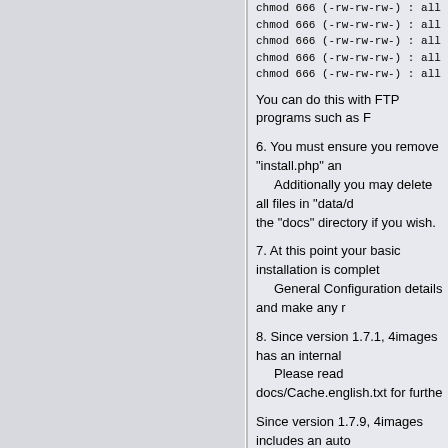chmod 666 (-rw-rw-rw-) : all files in the directo
chmod 666 (-rw-rw-rw-) : all files in the directo
chmod 666 (-rw-rw-rw-) : all files in the directo
chmod 666 (-rw-rw-rw-) : all files in the directo
chmod 666 (-rw-rw-rw-) : all files in the directo
You can do this with FTP programs such as F
6. You must ensure you remove "install.php" an
Additionally you may delete all files in "data/d
the "docs" directory if you wish.
7. At this point your basic installation is complet
General Configuration details and make any r
8. Since version 1.7.1, 4images has an internal
Please read docs/Cache.english.txt for furthe
Since version 1.7.9, 4images includes an auto
Request Forgery (CSRF) attacks.
Please read docs/CSRF.english.txt for further
Since version 1.7.10 it is possible to define ho
for the search. The settings can be changed i
There are 3 types:
"fulltext": Content will be split up by whitespac
"keywords": Content will be split up by comma
"phrase":   Content will NOT be split up. Word
The values can also be set in the config.php.